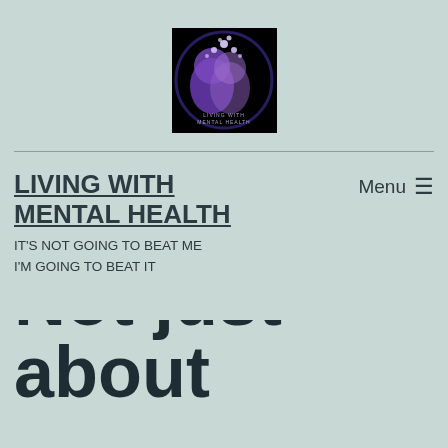[Figure (logo): Circular mental health logo with stylized human head silhouette and stars/puzzle pieces in purple and blue tones on black background]
LIVING WITH MENTAL HEALTH
IT'S NOT GOING TO BEAT ME
I'M GOING TO BEAT IT
Not just about